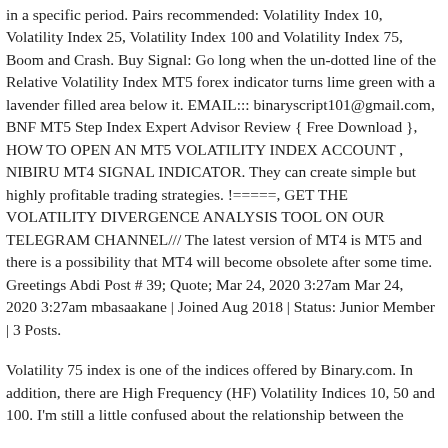in a specific period. Pairs recommended: Volatility Index 10, Volatility Index 25, Volatility Index 100 and Volatility Index 75, Boom and Crash. Buy Signal: Go long when the un-dotted line of the Relative Volatility Index MT5 forex indicator turns lime green with a lavender filled area below it. EMAIL::: binaryscript101@gmail.com, BNF MT5 Step Index Expert Advisor Review { Free Download }, HOW TO OPEN AN MT5 VOLATILITY INDEX ACCOUNT , NIBIRU MT4 SIGNAL INDICATOR. They can create simple but highly profitable trading strategies. !=====, GET THE VOLATILITY DIVERGENCE ANALYSIS TOOL ON OUR TELEGRAM CHANNEL/// The latest version of MT4 is MT5 and there is a possibility that MT4 will become obsolete after some time. Greetings Abdi Post # 39; Quote; Mar 24, 2020 3:27am Mar 24, 2020 3:27am mbasaakane | Joined Aug 2018 | Status: Junior Member | 3 Posts.
Volatility 75 index is one of the indices offered by Binary.com. In addition, there are High Frequency (HF) Volatility Indices 10, 50 and 100. I'm still a little confused about the relationship between the